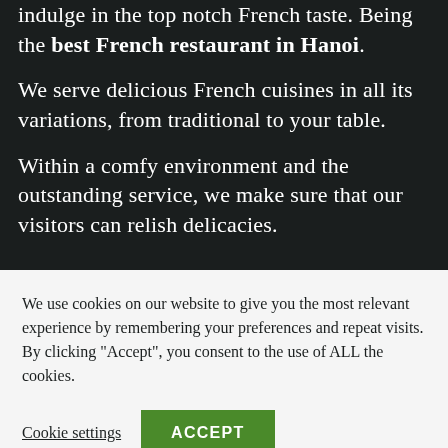indulge in the top notch French taste. Being the best French restaurant in Hanoi.
We serve delicious French cuisines in all its variations, from traditional to your table.
Within a comfy environment and the outstanding service, we make sure that our visitors can relish delicacies.
We use cookies on our website to give you the most relevant experience by remembering your preferences and repeat visits. By clicking "Accept", you consent to the use of ALL the cookies.
Cookie settings
ACCEPT